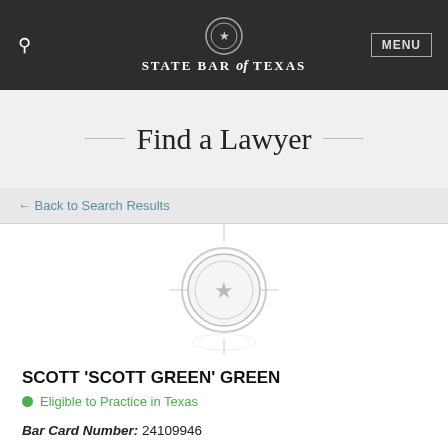State Bar of Texas
Find a Lawyer
← Back to Search Results
[Figure (logo): State Bar of Texas seal/logo placeholder with crosshair lines and a reflection effect]
SCOTT 'SCOTT GREEN' GREEN
Eligible to Practice in Texas
Bar Card Number: 24109946